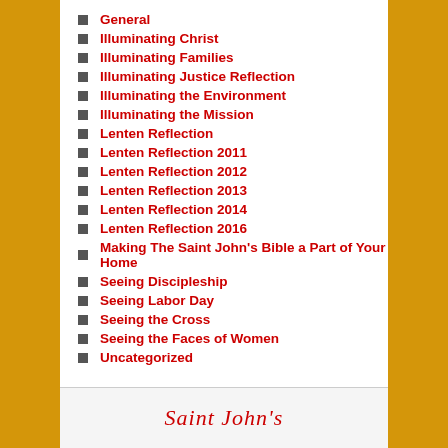General
Illuminating Christ
Illuminating Families
Illuminating Justice Reflection
Illuminating the Environment
Illuminating the Mission
Lenten Reflection
Lenten Reflection 2011
Lenten Reflection 2012
Lenten Reflection 2013
Lenten Reflection 2014
Lenten Reflection 2016
Making The Saint John's Bible a Part of Your Home
Seeing Discipleship
Seeing Labor Day
Seeing the Cross
Seeing the Faces of Women
Uncategorized
Saint John's Bible